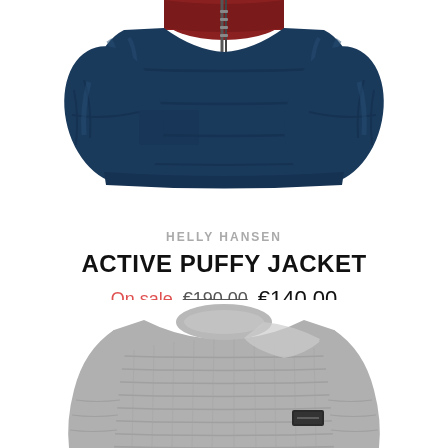[Figure (photo): A navy blue and red Helly Hansen Active Puffy Jacket, puffer style with zipper, partially cropped at top]
HELLY HANSEN
ACTIVE PUFFY JACKET
On sale €190.00 €140.00
[Figure (photo): A grey knit crewneck sweater with textured ribbed pattern and small patch logo on the sleeve, partially cropped at bottom]